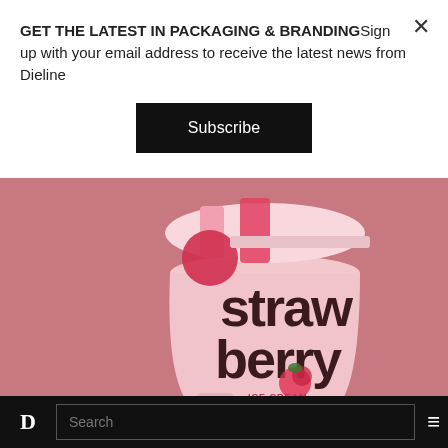GET THE LATEST IN PACKAGING & BRANDINGSign up with your email address to receive the latest news from Dieline
Subscribe
[Figure (photo): Ice cream cup product packaging with 'Strawberry' text in large bubbly brown lettering on a pink background, tilted at an angle. The lid has red and pink stripe and circle design. Label reads 'ICE CREAM 500ML'.]
FOOD PACKAGING, STUDENT & CONCEPT PACKAGING
D  Search  ≡